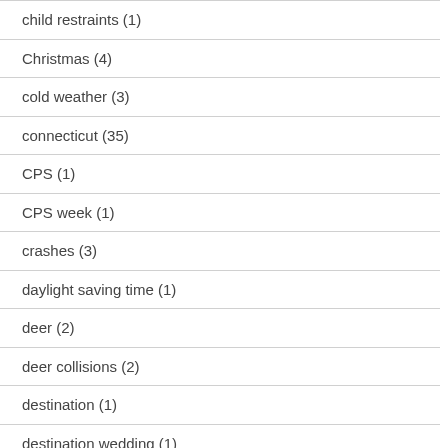child restraints (1)
Christmas (4)
cold weather (3)
connecticut (35)
CPS (1)
CPS week (1)
crashes (3)
daylight saving time (1)
deer (2)
deer collisions (2)
destination (1)
destination wedding (1)
diamond (5)